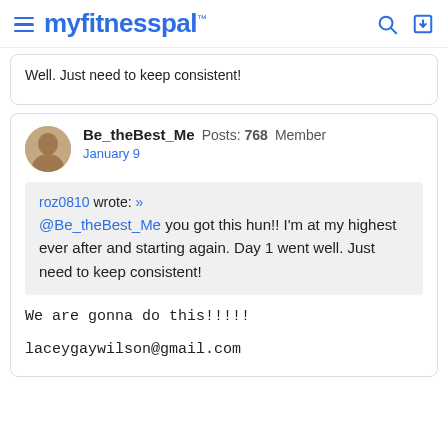myfitnesspal
Well. Just need to keep consistent!
Be_theBest_Me  Posts: 768  Member
January 9
roz0810 wrote: »
@Be_theBest_Me you got this hun!! I'm at my highest ever after and starting again. Day 1 went well. Just need to keep consistent!
We are gonna do this!!!!!

laceygaywilson@gmail.com